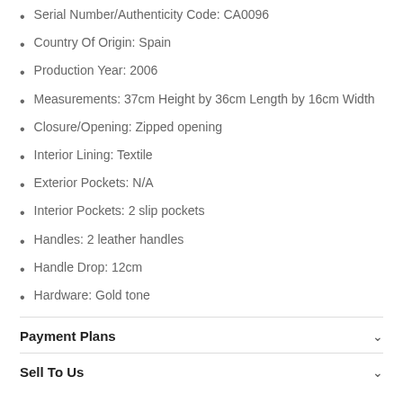Serial Number/Authenticity Code: CA0096
Country Of Origin: Spain
Production Year: 2006
Measurements: 37cm Height by 36cm Length by 16cm Width
Closure/Opening: Zipped opening
Interior Lining: Textile
Exterior Pockets: N/A
Interior Pockets: 2 slip pockets
Handles: 2 leather handles
Handle Drop: 12cm
Hardware: Gold tone
Payment Plans
Sell To Us